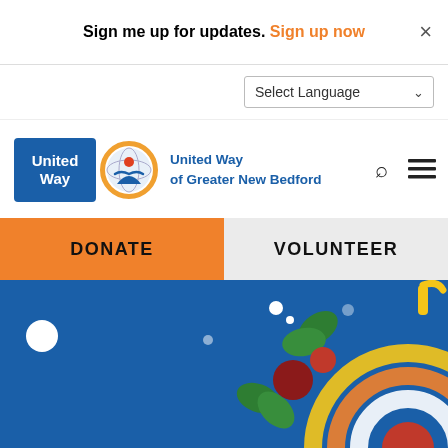Sign me up for updates. Sign up now
Select Language
[Figure (logo): United Way logo with blue rectangle and circular globe/person graphic, text: United Way of Greater New Bedford]
DONATE
VOLUNTEER
[Figure (illustration): Blue background holiday banner illustration with white dot, green holly leaves, red and dark red ornament balls, yellow/orange/white concentric circle ornament]